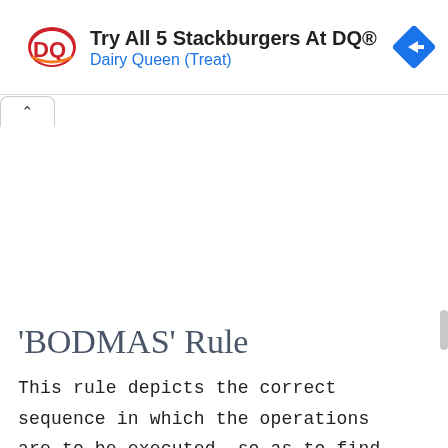[Figure (advertisement): Dairy Queen advertisement banner: DQ logo on left, text 'Try All 5 Stackburgers At DQ®' and 'Dairy Queen (Treat)' in center, blue navigation arrow icon on right.]
'BODMAS' Rule
This rule depicts the correct sequence in which the operations are to be executed, so as to find out the value of given